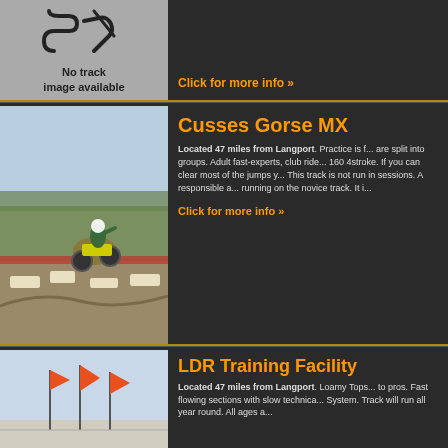[Figure (illustration): No track image available placeholder with track icon]
Click for more info »
Cusses Gorse MX
[Figure (photo): Motocross rider jumping on a dirt track at Cusses Gorse MX]
Located 47 miles from Langport. Practice is f... are split into groups. Adult fast-experts, club ride... 160 4stroke. If you can clear most of the jumps y... This track is not run in sessions. A responsible a... running on the novice track. It i...
Click for more info »
LDR Training Facility
[Figure (photo): LDR Training Facility photo showing riders with flags in background]
Located 47 miles from Langport. Loamy Tops... to pros. Fast flowing sections with slow technica... System. Track will run all year round. All ages a...